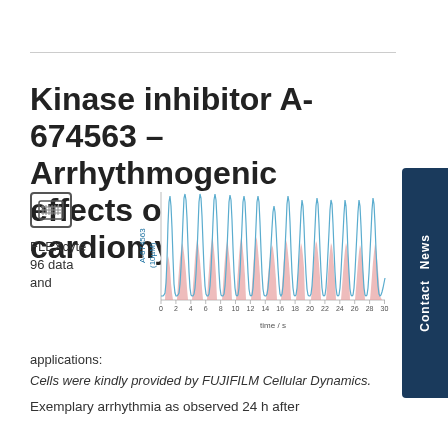Kinase inhibitor A-674563 – Arrhythmogenic effects on cardiomyocytes
[Figure (continuous-plot): Line chart showing arrhythmic cardiomyocyte signals (blue spikes and pink filled areas) over time after treatment with A-674563 (10µM). X-axis: time / s from 0 to 30. Y-axis labeled: A-674563 (10µM). Irregular beat intervals visible.]
FLEXcyte 96 data and
applications:
Cells were kindly provided by FUJIFILM Cellular Dynamics.
Exemplary arrhythmia as observed 24 h after